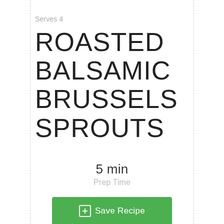Serves 4
ROASTED BALSAMIC BRUSSELS SPROUTS
5 min
Prep Time
30 min
Cook Time
35 min
Total Time
Save Recipe